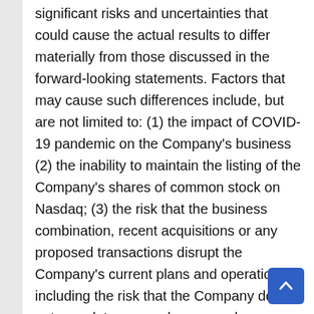significant risks and uncertainties that could cause the actual results to differ materially from those discussed in the forward-looking statements. Factors that may cause such differences include, but are not limited to: (1) the impact of COVID-19 pandemic on the Company's business (2) the inability to maintain the listing of the Company's shares of common stock on Nasdaq; (3) the risk that the business combination, recent acquisitions or any proposed transactions disrupt the Company's current plans and operations, including the risk that the Company does not complete any such proposed transactions or achieve the expected benefit from them; (4) the ability to recognize the anticipated benefits of the business combination, which may be